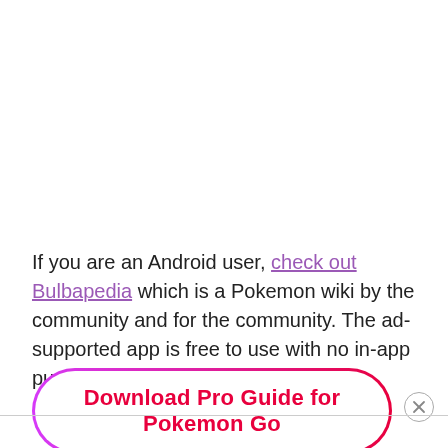If you are an Android user, check out Bulbapedia which is a Pokemon wiki by the community and for the community. The ad-supported app is free to use with no in-app purchase.
[Figure (other): A call-to-action button with gradient border (purple to red) reading 'Download Pro Guide for Pokemon Go' in bold red text]